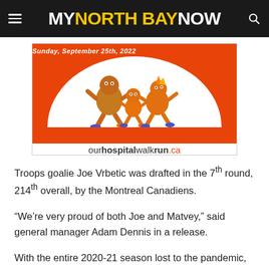MY NORTH BAY NOW
[Figure (illustration): Advertisement for ourhospitalwalkrun.ca showing cartoon characters running and text 'Sunday, September 25th, 2022' on an orange background with a white arch.]
Troops goalie Joe Vrbetic was drafted in the 7th round, 214th overall, by the Montreal Canadiens.
“We’re very proud of both Joe and Matvey,” said general manager Adam Dennis in a release.
With the entire 2020-21 season lost to the pandemic, Petrov has yet to play for the Troops after being selected in the